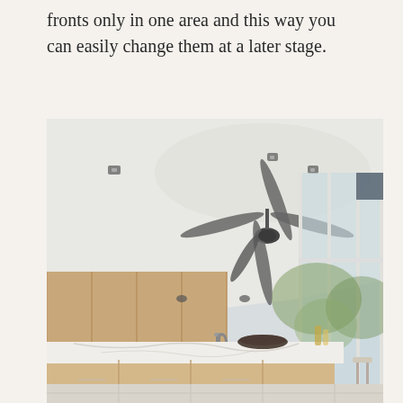fronts only in one area and this way you can easily change them at a later stage.
[Figure (photo): Interior photo of a modern kitchen with a large white marble island countertop, wooden cabinet fronts, high vaulted white ceiling with a dark ceiling fan, recessed lighting, and floor-to-ceiling windows letting in natural light. Greenery is visible outside.]